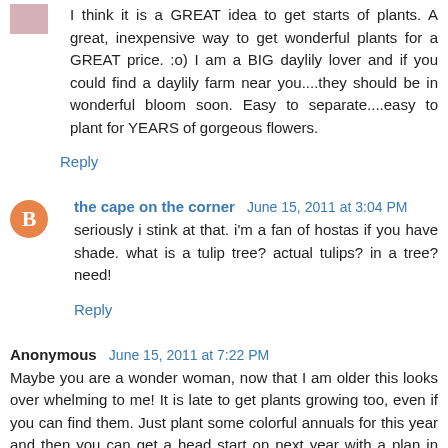I think it is a GREAT idea to get starts of plants. A great, inexpensive way to get wonderful plants for a GREAT price. :o) I am a BIG daylily lover and if you could find a daylily farm near you....they should be in wonderful bloom soon. Easy to separate....easy to plant for YEARS of gorgeous flowers.
Reply
the cape on the corner June 15, 2011 at 3:04 PM
seriously i stink at that. i'm a fan of hostas if you have shade. what is a tulip tree? actual tulips? in a tree? need!
Reply
Anonymous June 15, 2011 at 7:22 PM
Maybe you are a wonder woman, now that I am older this looks over whelming to me! It is late to get plants growing too, even if you can find them. Just plant some colorful annuals for this year and then you can get a head start on next year with a plan in place. Good luck.